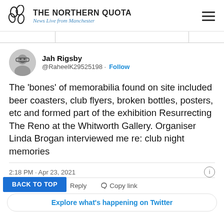THE NORTHERN QUOTA — News Live from Manchester
Jah Rigsby @RaheelK29525198 · Follow
The 'bones' of memorabilia found on site included beer coasters, club flyers, broken bottles, posters, etc and formed part of the exhibition Resurrecting The Reno at the Whitworth Gallery. Organiser Linda Brogan interviewed me re: club night memories
2:18 PM · Apr 23, 2021
Copy link
BACK TO TOP
Explore what's happening on Twitter